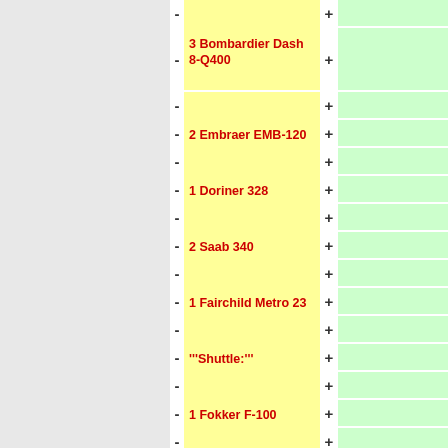- [yellow] + [green]
3 Bombardier Dash 8-Q400
- [yellow] + [green]
2 Embraer EMB-120
- [yellow] + [green]
1 Doriner 328
- [yellow] + [green]
2 Saab 340
- [yellow] + [green]
1 Fairchild Metro 23
- [yellow] + [green]
'''Shuttle:'''
- [yellow] + [green]
1 Fokker F-100
- [yellow] + [green]
1 McDonnell Douglas MD-87
- [yellow] + [green]
1 Mcdonnell Douglas ...